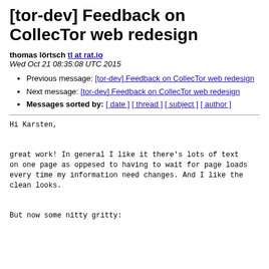[tor-dev] Feedback on CollecTor web redesign
thomas lörtsch tl at rat.io
Wed Oct 21 08:35:08 UTC 2015
Previous message: [tor-dev] Feedback on CollecTor web redesign
Next message: [tor-dev] Feedback on CollecTor web redesign
Messages sorted by: [ date ] [ thread ] [ subject ] [ author ]
Hi Karsten,


great work! In general I like it there's lots of text
on one page as oppesed to having to wait for page loads
every time my information need changes. And I like the
clean looks.


But now some nitty gritty: